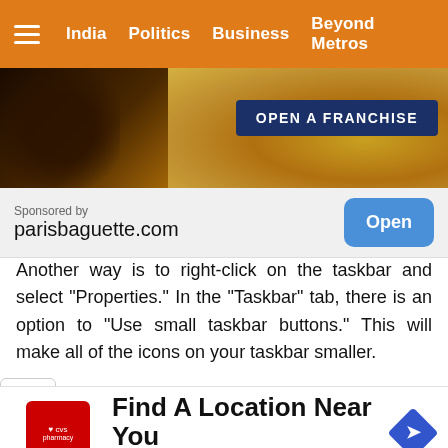India   Politics   Business   Beyond Metros
[Figure (photo): Advertisement banner image showing baked goods with 'OPEN A FRANCHISE' button overlay]
Sponsored by
parisbaguette.com
Another way is to right-click on the taskbar and select “Properties.” In the “Taskbar” tab, there is an option to “Use small taskbar buttons.” This will make all of the icons on your taskbar smaller.
want even more control over the size of your icons,
[Figure (other): CVS Pharmacy advertisement: Find A Location Near You]